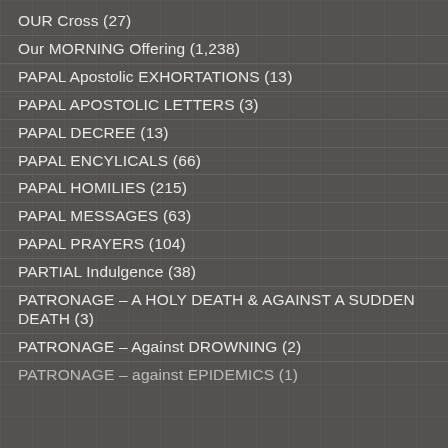OUR Cross (27)
Our MORNING Offering (1,238)
PAPAL Apostolic EXHORTATIONS (13)
PAPAL APOSTOLIC LETTERS (3)
PAPAL DECREE (13)
PAPAL ENCYLICALS (66)
PAPAL HOMILIES (215)
PAPAL MESSAGES (63)
PAPAL PRAYERS (104)
PARTIAL Indulgence (38)
PATRONAGE – A HOLY DEATH & AGAINST A SUDDEN DEATH (3)
PATRONAGE – Against DROWNING (2)
PATRONAGE – against EPIDEMICS (1)